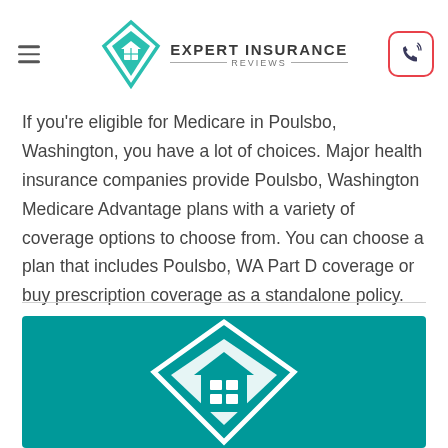Expert Insurance Reviews
If you're eligible for Medicare in Poulsbo, Washington, you have a lot of choices. Major health insurance companies provide Poulsbo, Washington Medicare Advantage plans with a variety of coverage options to choose from. You can choose a plan that includes Poulsbo, WA Part D coverage or buy prescription coverage as a standalone policy. Poulsbo, Washington...
[Figure (logo): Expert Insurance Reviews logo with teal diamond and house icon on teal banner background]